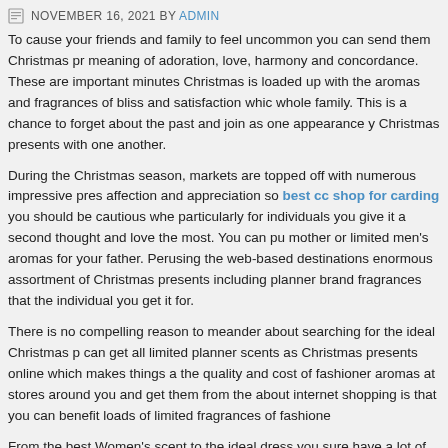NOVEMBER 16, 2021 BY ADMIN
To cause your friends and family to feel uncommon you can send them Christmas pr meaning of adoration, love, harmony and concordance. These are important minutes Christmas is loaded up with the aromas and fragrances of bliss and satisfaction whic whole family. This is a chance to forget about the past and join as one appearance y Christmas presents with one another.
During the Christmas season, markets are topped off with numerous impressive pres affection and appreciation so best cc shop for carding you should be cautious whe particularly for individuals you give it a second thought and love the most. You can pu mother or limited men's aromas for your father. Perusing the web-based destinations enormous assortment of Christmas presents including planner brand fragrances that the individual you get it for.
There is no compelling reason to meander about searching for the ideal Christmas p can get all limited planner scents as Christmas presents online which makes things a the quality and cost of fashioner aromas at stores around you and get them from the about internet shopping is that you can benefit loads of limited fragrances of fashione
From the best Women's scent to the ideal dress you sure have a lot of decisions for y members as an ideal Christmas present which will make her affection you more. Whi get you ought to have it gift wrapped with a customized card and make it exceptional showing your affection for the individual.
Christmas should be the most exciting and memorable season there are many in the d